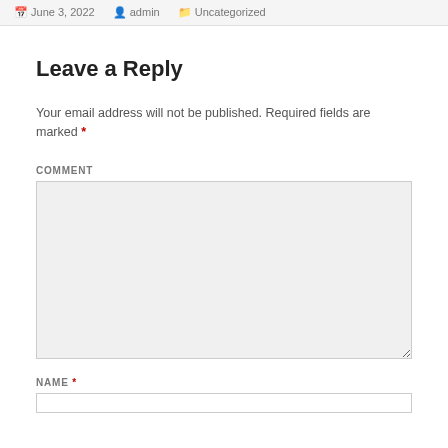June 3, 2022  admin  Uncategorized
Leave a Reply
Your email address will not be published. Required fields are marked *
COMMENT
NAME *